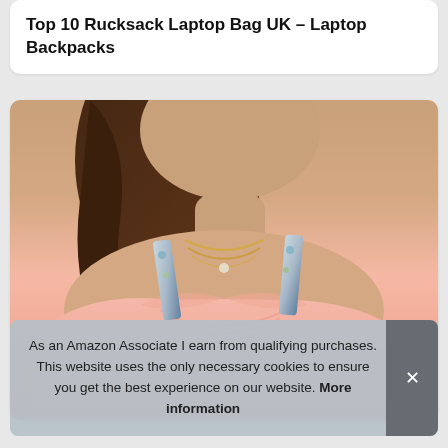Top 10 Rucksack Laptop Bag UK – Laptop Backpacks
[Figure (photo): Photo of a woman wearing a pink swimsuit top with floral straps and layered gold necklace, cropped to show neck and torso]
As an Amazon Associate I earn from qualifying purchases. This website uses the only necessary cookies to ensure you get the best experience on our website. More information